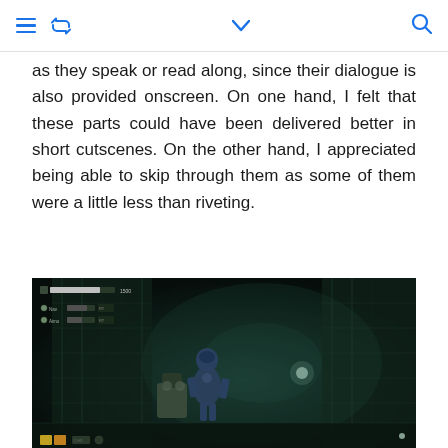navigation bar with menu, retweet, chevron, and search icons
as they speak or read along, since their dialogue is also provided onscreen. On one hand, I felt that these parts could have been delivered better in short cutscenes. On the other hand, I appreciated being able to skip through them as some of them were a little less than riveting.
[Figure (screenshot): Dark atmospheric video game screenshot showing a character in a futuristic/sci-fi corridor environment with UI elements in the top-left corner showing player stats/options]